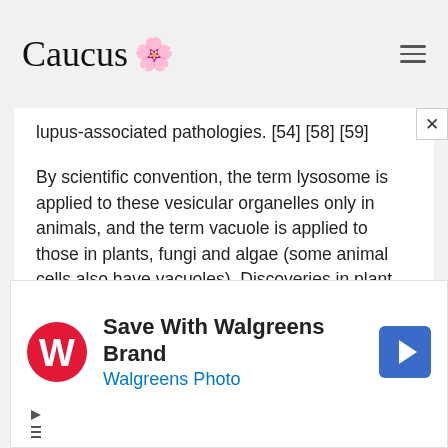Caucus
lupus-associated pathologies. [54] [58] [59]
By scientific convention, the term lysosome is applied to these vesicular organelles only in animals, and the term vacuole is applied to those in plants, fungi and algae (some animal cells also have vacuoles). Discoveries in plant cells since the 1970s started to challenge this definition. Plant vacuoles are found to be much more diverse in structure and
[Figure (other): Walgreens advertisement: Save With Walgreens Brand / Walgreens Photo, with Walgreens W logo and navigation arrow icon]